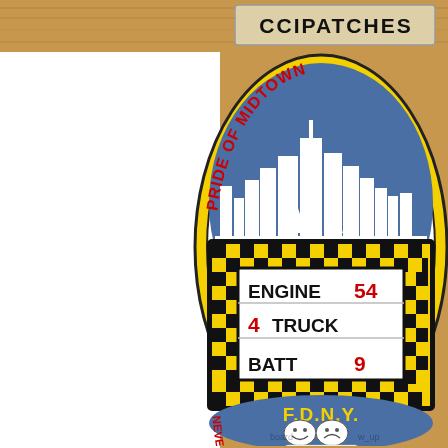[Figure (illustration): CCIPATCHES store sign/banner at the top of the image on a wooden surface]
[Figure (illustration): FDNY Fire Department patch for Engine 54, Truck 4, Battalion 9. Oval shaped patch with yellow border. Top arc reads PRIDE OF MIDTOWN in red on white. Bottom arc reads NEVER MISSED A PERFORMANCE in red/black on yellow. Center shows NYC skyline on blue background above a marquee sign board showing ENGINE 54 / 4 TRUCK / BATT 9. Bottom section has F.D.N.Y. in yellow on blue with comedy/tragedy theater masks.]